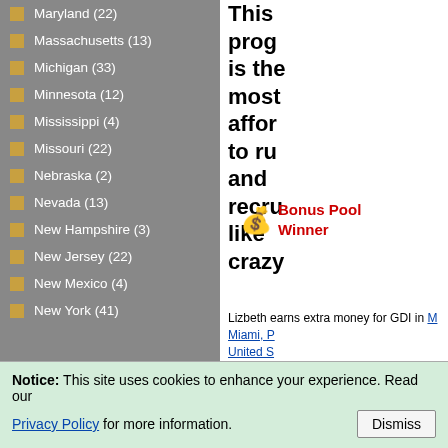Maryland (22)
Massachusetts (13)
Michigan (33)
Minnesota (12)
Mississippi (4)
Missouri (22)
Nebraska (2)
Nevada (13)
New Hampshire (3)
New Jersey (22)
New Mexico (4)
New York (41)
This program is the most affordable to run and recruit like crazy.
[Figure (other): Money bag emoji with Bonus Pool Winner label in red]
Lizbeth earns extra money for GDI in Miami, United S... GDI Affiliate since 08/10/...
Notice: This site uses cookies to enhance your experience. Read our Privacy Policy for more information. [Dismiss]